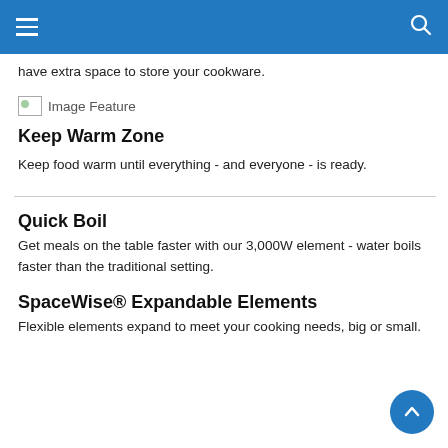have extra space to store your cookware.
[Figure (illustration): Image Feature placeholder icon]
Keep Warm Zone
Keep food warm until everything - and everyone - is ready.
Quick Boil
Get meals on the table faster with our 3,000W element - water boils faster than the traditional setting.
SpaceWise® Expandable Elements
Flexible elements expand to meet your cooking needs, big or small.